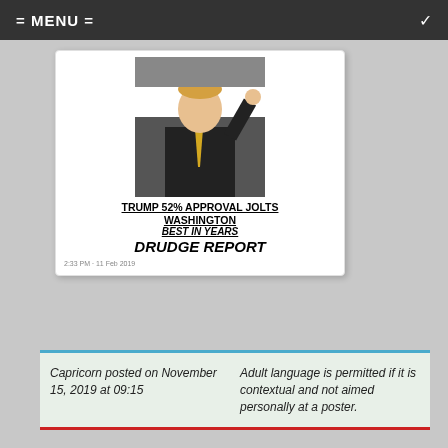= MENU =
[Figure (screenshot): Tweet screenshot showing a man in a dark suit raising his hand, with text 'TRUMP 52% APPROVAL JOLTS WASHINGTON BEST IN YEARS DRUDGE REPORT' and timestamp '2:33 PM - 11 Feb 2019']
Capricorn posted on November 15, 2019 at 09:15
Adult language is permitted if it is contextual and not aimed personally at a poster.
February 11, 2019 at 11:58                                          #13811